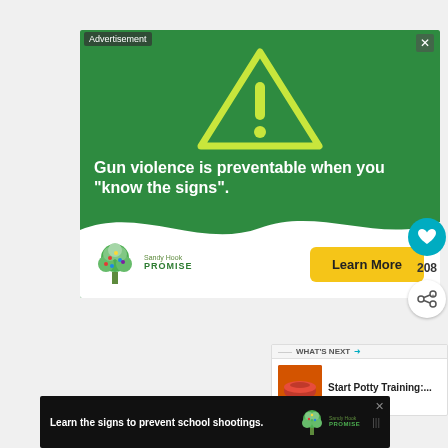[Figure (infographic): Sandy Hook Promise advertisement banner. Green background with a yellow warning triangle containing an exclamation mark. Text reads: 'Gun violence is preventable when you "know the signs".' Sandy Hook Promise logo with a colorful tree. Yellow 'Learn More' button.]
[Figure (infographic): What's Next panel showing 'Start Potty Training:...' with a mouth/lips image thumbnail.]
[Figure (infographic): Bottom black banner ad: 'Learn the signs to prevent school shootings.' with Sandy Hook Promise logo.]